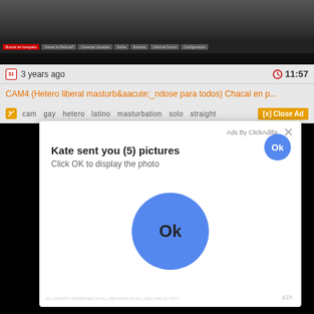[Figure (screenshot): Screenshot of a video streaming website showing a video thumbnail at the top, navigation bar with red and gray buttons, and site navigation links.]
3 years ago
11:57
CAM4 (Hetero liberal masturb&aacute;ndose para todos) Chacal en p...
cam  gay  hetero  latino  masturbation  solo  straight
[x] Close Ad
[Figure (screenshot): Ad popup overlay from ClickAdilla showing 'Kate sent you (5) pictures' with 'Click OK to display the photo' text and two blue Ok buttons (one small top-right, one large centered).]